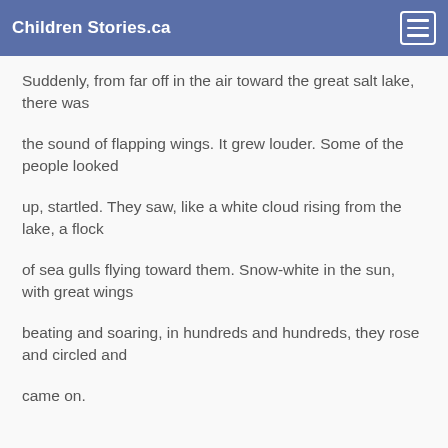Children Stories.ca
Suddenly, from far off in the air toward the great salt lake, there was
the sound of flapping wings. It grew louder. Some of the people looked
up, startled. They saw, like a white cloud rising from the lake, a flock
of sea gulls flying toward them. Snow-white in the sun, with great wings
beating and soaring, in hundreds and hundreds, they rose and circled and
came on.